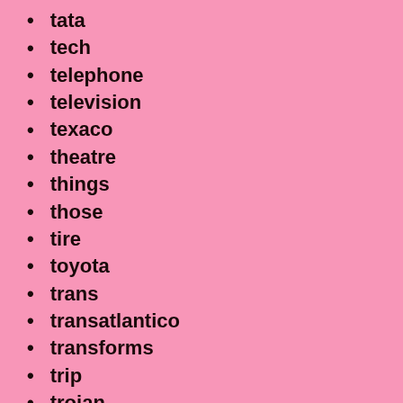tata
tech
telephone
television
texaco
theatre
things
those
tire
toyota
trans
transatlantico
transforms
trip
trojan
trop-artic
truck
true
tucker